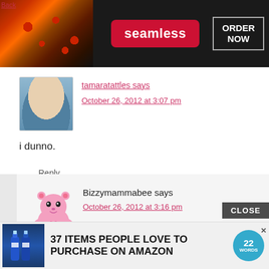[Figure (screenshot): Seamless food delivery ad banner with pizza image on left, red 'seamless' logo in center, and 'ORDER NOW' button on right against dark background]
tamaratattles says
October 26, 2012 at 3:07 pm
i dunno.
Reply
Bizzymammabee says
October 26, 2012 at 3:16 pm
Kim doesn't have friends. I think she has people that she can use and discard once
CLOSE
[Figure (infographic): Bottom advertisement: '37 ITEMS PEOPLE LOVE TO PURCHASE ON AMAZON' with product bottles and 22Words logo]